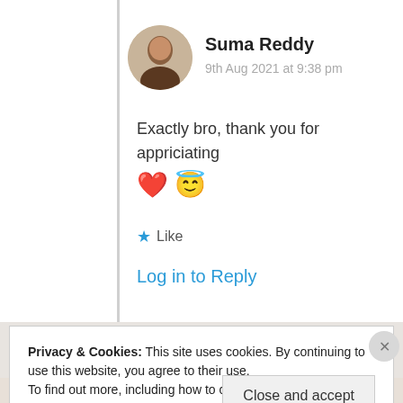Suma Reddy
9th Aug 2021 at 9:38 pm
Exactly bro, thank you for appriciating ❤️😇
★ Like
Log in to Reply
Privacy & Cookies: This site uses cookies. By continuing to use this website, you agree to their use.
To find out more, including how to control cookies, see here: Cookie Policy
Close and accept